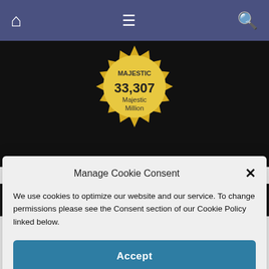[Figure (screenshot): Navigation bar with home icon, hamburger menu, and search icon on a dark blue/purple background]
[Figure (other): Gold badge/seal showing 'MAJESTIC 33,307 Majestic Million' on dark background]
Manage Cookie Consent
We use cookies to optimize our website and our service. To change permissions please see the Consent section of our Cookie Policy linked below.
Accept
Copyright © 1996-2022 MexConnect & respective authors. | ISSN #1028-9089 | About | Copyright | Contact | Privacy | Do Not Sell My Info. | Manage Consent |
[Figure (other): CarMax advertisement: 'See Cars Your Budget Will Love' with cm logo and blue arrow]